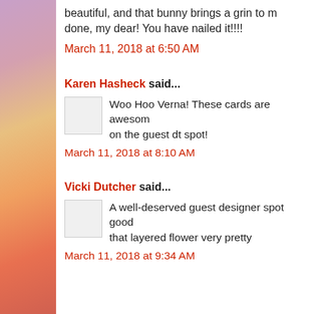beautiful, and that bunny brings a grin to m... done, my dear! You have nailed it!!!!
March 11, 2018 at 6:50 AM
Karen Hasheck said...
Woo Hoo Verna! These cards are awesome... on the guest dt spot!
March 11, 2018 at 8:10 AM
Vicki Dutcher said...
A well-deserved guest designer spot good... that layered flower very pretty
March 11, 2018 at 9:34 AM